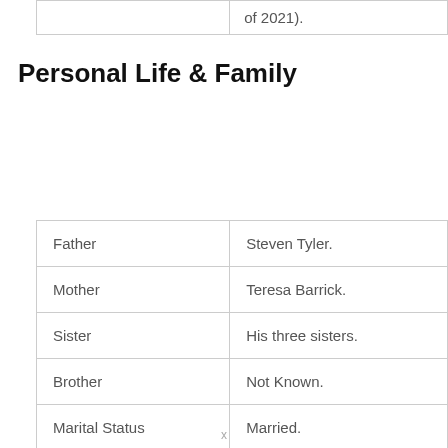|  | of 2021). |
Personal Life & Family
| Father | Steven Tyler. |
| Mother | Teresa Barrick. |
| Sister | His three sisters. |
| Brother | Not Known. |
| Marital Status | Married. |
| Wife (Spouse) | Brittany Tallarico. |
x